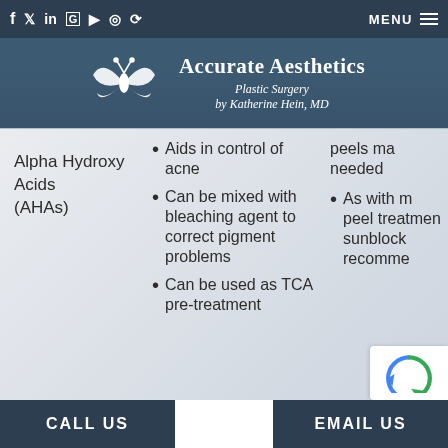f  Twitter  in  G  YouTube  Instagram  RSS  |  MENU
[Figure (logo): Accurate Aesthetics Plastic Surgery by Katherine Hein, MD logo with decorative AA monogram]
Alpha Hydroxy Acids (AHAs)
Aids in control of acne
Can be mixed with bleaching agent to correct pigment problems
Can be used as TCA pre-treatment
peels ma needed
As with m peel treatmen sunblock recomme
CALL US    EMAIL US